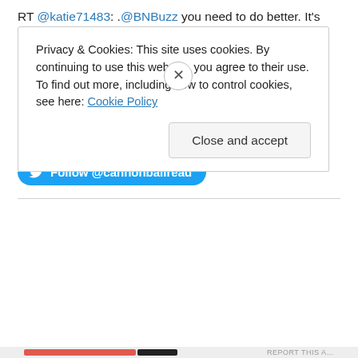RT @katie71483: .@BNBuzz you need to do better. It's not like you have a lack of shelf space. This is a travesty. Kids should be able to se… 1 day ago
Are you getting ready for next month's #CannonBookClub (9/16 & 9/17)? @faintingviolet is happy George M. Johnson's… twitter.com/i/web/status/1… 1 day ago
[Figure (other): Twitter Follow button: Follow @cannonballread]
Privacy & Cookies: This site uses cookies. By continuing to use this website, you agree to their use. To find out more, including how to control cookies, see here: Cookie Policy
Close and accept